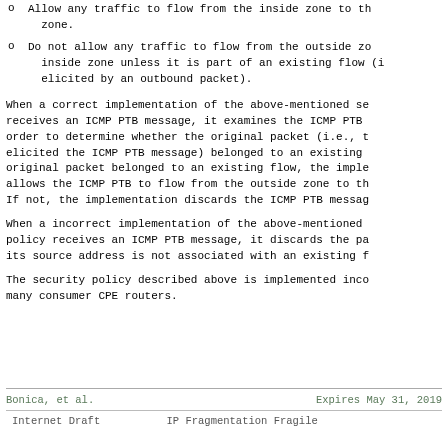o  Allow any traffic to flow from the inside zone to the outside zone.
o  Do not allow any traffic to flow from the outside zone to the inside zone unless it is part of an existing flow (i.e., elicited by an outbound packet).
When a correct implementation of the above-mentioned security policy receives an ICMP PTB message, it examines the ICMP PTB message in order to determine whether the original packet (i.e., the packet that elicited the ICMP PTB message) belonged to an existing flow. If the original packet belonged to an existing flow, the implementation allows the ICMP PTB to flow from the outside zone to the inside zone. If not, the implementation discards the ICMP PTB message.
When a incorrect implementation of the above-mentioned security policy receives an ICMP PTB message, it discards the packet because its source address is not associated with an existing flow.
The security policy described above is implemented incorrectly in many consumer CPE routers.
Bonica, et al.          Expires May 31, 2019
Internet Draft          IP Fragmentation Fragile